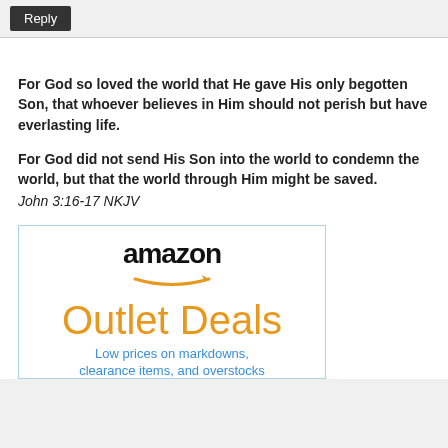Reply
For God so loved the world that He gave His only begotten Son, that whoever believes in Him should not perish but have everlasting life.

For God did not send His Son into the world to condemn the world, but that the world through Him might be saved.
John 3:16-17 NKJV
[Figure (logo): Amazon Outlet Deals advertisement with Amazon logo, orange arrow swoosh, and text 'Outlet Deals - Low prices on markdowns, clearance items, and overstocks']